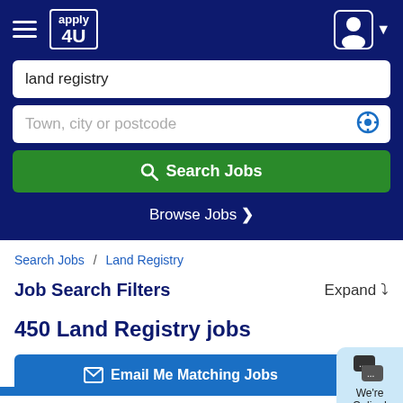apply 4U — navigation header with menu icon and user icon
land registry
Town, city or postcode
Search Jobs
Browse Jobs >
Search Jobs / Land Registry
Job Search Filters   Expand ˅
450 Land Registry jobs
Email Me Matching Jobs
We're Online!